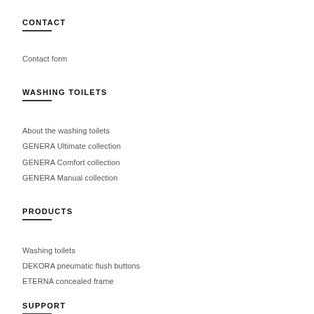CONTACT
Contact form
WASHING TOILETS
About the washing toilets
GENERA Ultimate collection
GENERA Comfort collection
GENERA Manual collection
PRODUCTS
Washing toilets
DEKORA pneumatic flush buttons
ETERNA concealed frame
SUPPORT